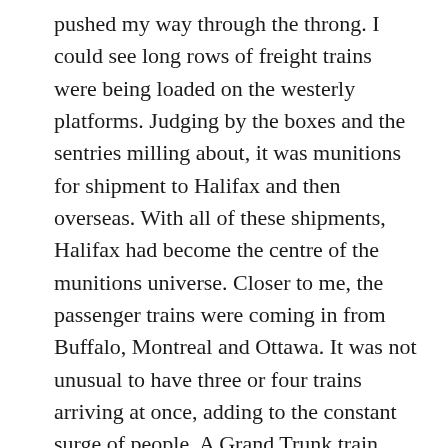pushed my way through the throng. I could see long rows of freight trains were being loaded on the westerly platforms. Judging by the boxes and the sentries milling about, it was munitions for shipment to Halifax and then overseas. With all of these shipments, Halifax had become the centre of the munitions universe. Closer to me, the passenger trains were coming in from Buffalo, Montreal and Ottawa. It was not unusual to have three or four trains arriving at once, adding to the constant surge of people. A Grand Trunk train, with an especially black smoke pillar was coming in from Montreal. I could see it was full of returning veterans. My mind slipped away